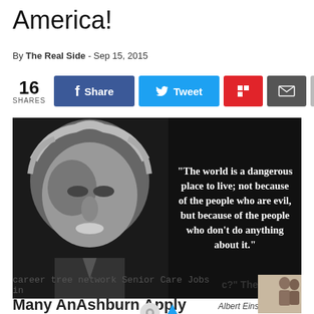America!
By The Real Side - Sep 15, 2015
[Figure (other): Social share bar with 16 shares, Facebook Share button, Twitter Tweet button, Flipboard button, email button, and plus button]
[Figure (photo): Black and white photo of Albert Einstein with a quote overlay: 'The world is a dangerous place to live; not because of the people who are evil, but because of the people who don't do anything about it.']
Albert Einstein, Quote
career tree network Senior Care Jobs in Many AnAshburn Apply Now jobble.com
c?" The